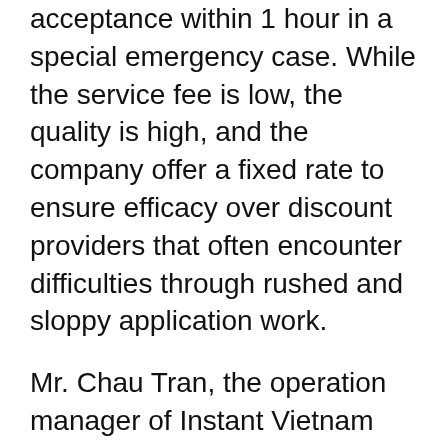acceptance within 1 hour in a special emergency case. While the service fee is low, the quality is high, and the company offer a fixed rate to ensure efficacy over discount providers that often encounter difficulties through rushed and sloppy application work.
Mr. Chau Tran, the operation manager of Instant Vietnam Visa explained, “The video has been created to show consumers how to use our service and how it benefits them. It shows them step by step how to apply online with us, the video (people can watch it directly by visiting https://www.youtube.com/watch?v=b3KVpgHmsG0) makes the process incredibly simple and intuitive. In this way, we can ensure a smooth and uneventful service with a guaranteed